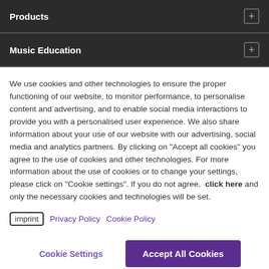Products
Music Education
We use cookies and other technologies to ensure the proper functioning of our website, to monitor performance, to personalise content and advertising, and to enable social media interactions to provide you with a personalised user experience. We also share information about your use of our website with our advertising, social media and analytics partners. By clicking on "Accept all cookies" you agree to the use of cookies and other technologies. For more information about the use of cookies or to change your settings, please click on "Cookie settings". If you do not agree,  click here and only the necessary cookies and technologies will be set.
imprint   Privacy Policy   Cookie Policy
Cookie Settings   Accept All Cookies